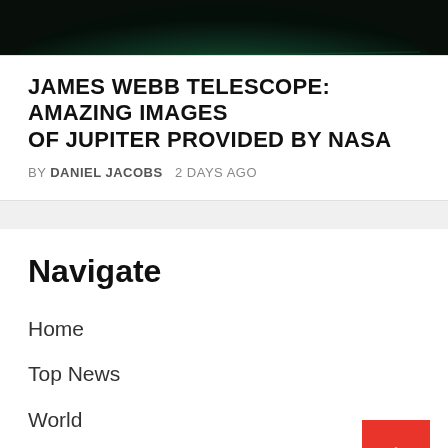[Figure (photo): Partial image of Jupiter showing green and teal hues against a dark background, captured by the James Webb Telescope]
JAMES WEBB TELESCOPE: AMAZING IMAGES OF JUPITER PROVIDED BY NASA
BY DANIEL JACOBS  2 DAYS AGO
Navigate
Home
Top News
World
Economy
science